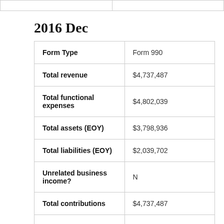2016 Dec
| Form Type | Form 990 |
| Total revenue | $4,737,487 |
| Total functional expenses | $4,802,039 |
| Total assets (EOY) | $3,798,936 |
| Total liabilities (EOY) | $2,039,702 |
| Unrelated business income? | N |
| Total contributions | $4,737,487 |